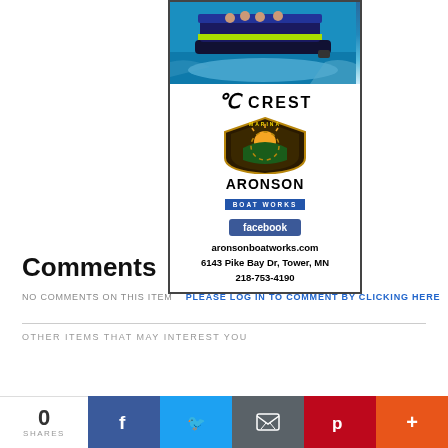[Figure (illustration): Advertisement for Crest boats and Aronson Marina Boat Works. Shows a pontoon boat on water at top, then CREST logo, Aronson Marina Boat Works shield logo, a Facebook button, website aronsonboatworks.com, address 6143 Pike Bay Dr, Tower, MN, and phone 218-753-4190.]
Comments
NO COMMENTS ON THIS ITEM  PLEASE LOG IN TO COMMENT BY CLICKING HERE
OTHER ITEMS THAT MAY INTEREST YOU
[Figure (infographic): Social sharing bar showing 0 SHARES, with Facebook, Twitter, Email, Pinterest, and More (+) buttons]